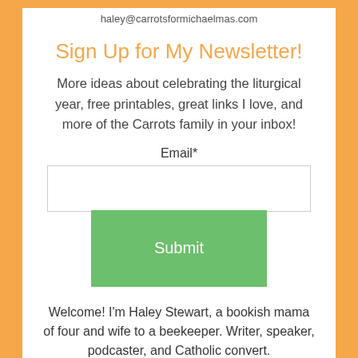haley@carrotsformichaelmas.com
Sign Up for My Newsletter!
More ideas about celebrating the liturgical year, free printables, great links I love, and more of the Carrots family in your inbox!
Email*
Welcome! I'm Haley Stewart, a bookish mama of four and wife to a beekeeper. Writer, speaker, podcaster, and Catholic convert. Homeschooling, bacon-eating,